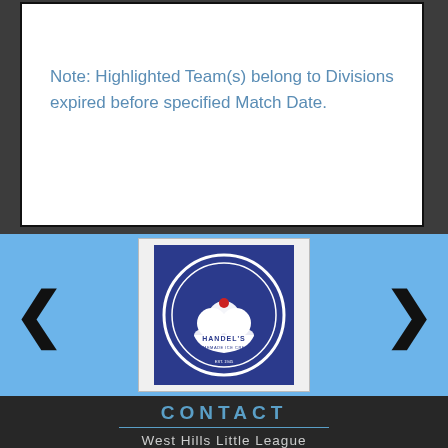Note: Highlighted Team(s) belong to Divisions expired before specified Match Date.
[Figure (logo): Handel's Homemade Ice Cream logo — white circle with ice cream bowl illustration, dark blue square background]
CONTACT
West Hills Little League